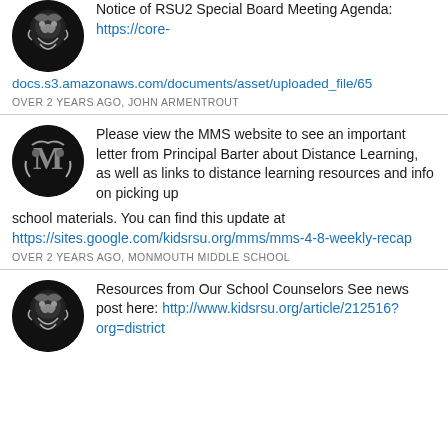[Figure (logo): School logo — circular black and white emblem with animals]
Notice of RSU2 Special Board Meeting Agenda: https://core-
docs.s3.amazonaws.com/documents/asset/uploaded_file/65
OVER 2 YEARS AGO, JOHN ARMENTROUT
[Figure (logo): School logo — circular black and white emblem with M and animals]
Please view the MMS website to see an important letter from Principal Barter about Distance Learning, as well as links to distance learning resources and info on picking up school materials. You can find this update at https://sites.google.com/kidsrsu.org/mms/mms-4-8-weekly-recap
OVER 2 YEARS AGO, MONMOUTH MIDDLE SCHOOL
[Figure (logo): School logo — circular black and white emblem with animals]
Resources from Our School Counselors See news post here: http://www.kidsrsu.org/article/212516?org=district